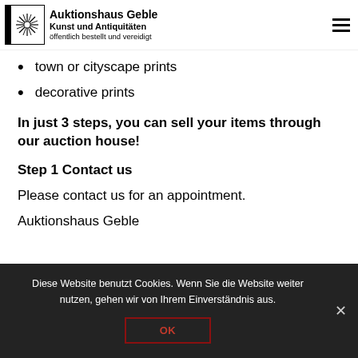Auktionshaus Geble Kunst und Antiquitäten öffentlich bestellt und vereidigt
town or cityscape prints
decorative prints
In just 3 steps, you can sell your items through our auction house!
Step 1 Contact us
Please contact us for an appointment.
Auktionshaus Geble
Diese Website benutzt Cookies. Wenn Sie die Website weiter nutzen, gehen wir von Ihrem Einverständnis aus.